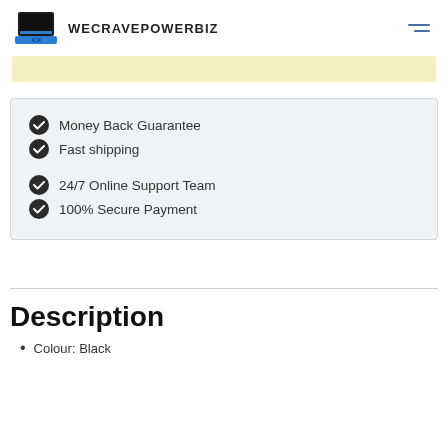WECRAVEPOWERBIZ
Money Back Guarantee
Fast shipping
24/7 Online Support Team
100% Secure Payment
Description
Colour: Black